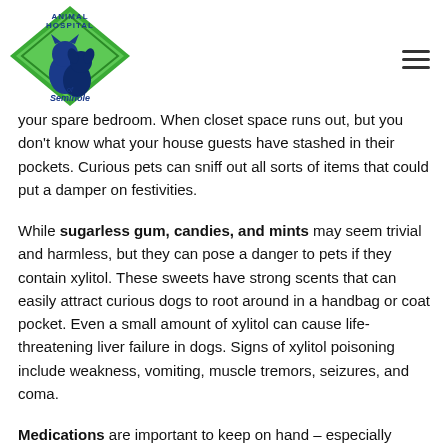[Figure (logo): Animal Hospital of Seminole logo: green diamond shape with cat and dog silhouette, text 'ANIMAL HOSPITAL' at top and 'Seminole' at bottom]
your spare bedroom. When closet space runs out, but you don't know what your house guests have stashed in their pockets. Curious pets can sniff out all sorts of items that could put a damper on festivities.
While sugarless gum, candies, and mints may seem trivial and harmless, but they can pose a danger to pets if they contain xylitol. These sweets have strong scents that can easily attract curious dogs to root around in a handbag or coat pocket. Even a small amount of xylitol can cause life-threatening liver failure in dogs. Signs of xylitol poisoning include weakness, vomiting, muscle tremors, seizures, and coma.
Medications are important to keep on hand – especially prescription medications – but if a cat or dog gets into any over-the-counter or prescription medications, there could be serious consequences. Anti-inflammatory drugs (e.g., Advil or Motrin) can cause vomiting, diarrhea, and